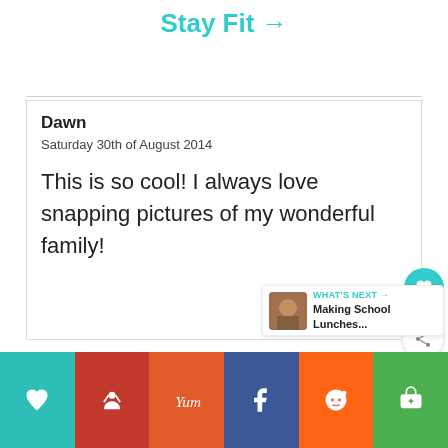Stay Fit →
Dawn
Saturday 30th of August 2014
This is so cool! I always love snapping pictures of my wonderful family!
WHAT'S NEXT → Making School Lunches...